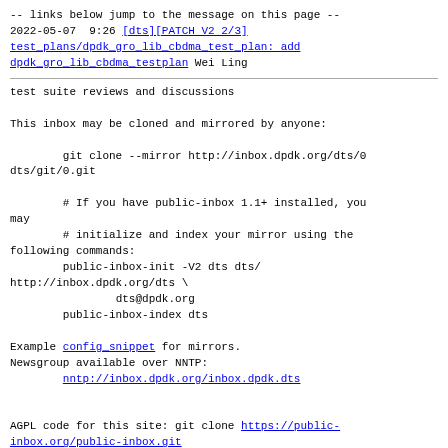-- links below jump to the message on this page --
2022-05-07  9:26 [dts][PATCH V2 2/3] test_plans/dpdk_gro_lib_cbdma_test_plan: add dpdk_gro_lib_cbdma_testplan Wei Ling
test suite reviews and discussions

This inbox may be cloned and mirrored by anyone:

        git clone --mirror http://inbox.dpdk.org/dts/0
dts/git/0.git

        # If you have public-inbox 1.1+ installed, you may
        # initialize and index your mirror using the
following commands:
        public-inbox-init -V2 dts dts/
http://inbox.dpdk.org/dts \
                dts@dpdk.org
        public-inbox-index dts

Example config_snippet for mirrors.
Newsgroup available over NNTP:
        nntp://inbox.dpdk.org/inbox.dpdk.dts


AGPL code for this site: git clone https://public-inbox.org/public-inbox.git